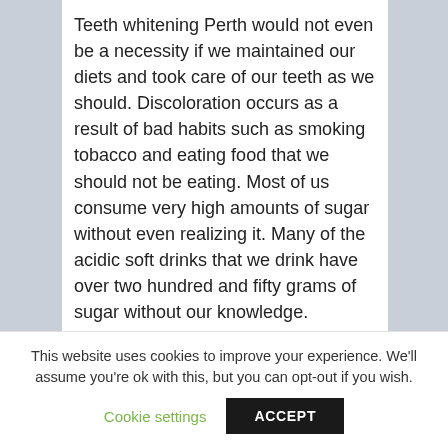Teeth whitening Perth would not even be a necessity if we maintained our diets and took care of our teeth as we should. Discoloration occurs as a result of bad habits such as smoking tobacco and eating food that we should not be eating. Most of us consume very high amounts of sugar without even realizing it. Many of the acidic soft drinks that we drink have over two hundred and fifty grams of sugar without our knowledge.
On an average day, you will never consider eating two hundred and fifty grams of sugar but when we are drinking ourselves some coke or Fanta, we do not think twice. In fact these companies pay big money to keep
This website uses cookies to improve your experience. We'll assume you're ok with this, but you can opt-out if you wish.
Cookie settings
ACCEPT